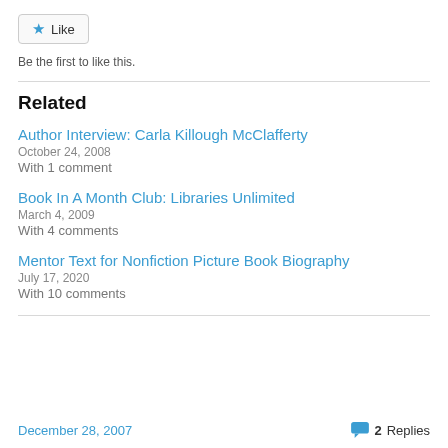[Figure (other): Like button with star icon]
Be the first to like this.
Related
Author Interview: Carla Killough McClafferty
October 24, 2008
With 1 comment
Book In A Month Club: Libraries Unlimited
March 4, 2009
With 4 comments
Mentor Text for Nonfiction Picture Book Biography
July 17, 2020
With 10 comments
December 28, 2007   2 Replies